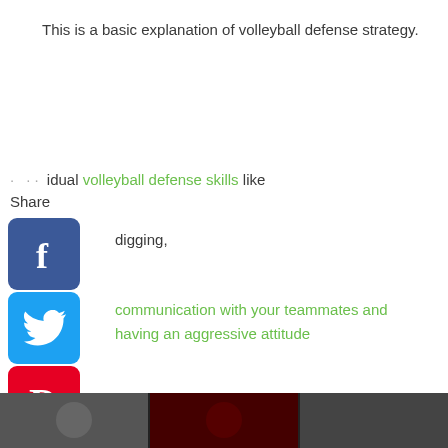This is a basic explanation of volleyball defense strategy.
individual volleyball defense skills like
digging,
communication with your teammates and having an aggressive attitude
important for a player to be good at, especially play all six positions for your team during a ch.
[Figure (screenshot): Bottom image strip showing a volleyball-related video thumbnail with dark background]
[Figure (infographic): Social media share buttons column: Facebook, Twitter, Pinterest, Tumblr, Reddit, WhatsApp with Share label]